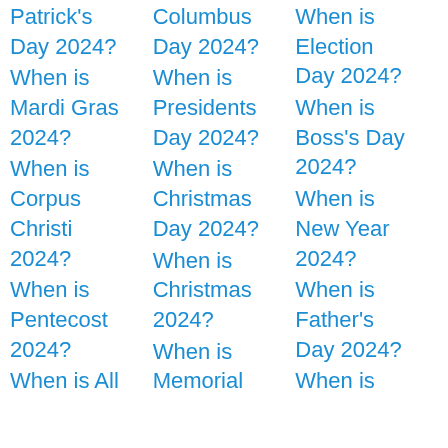Patrick's Day 2024?
Columbus Day 2024?
When is Election Day 2024?
When is Mardi Gras 2024?
When is Presidents Day 2024?
When is Boss's Day 2024?
When is Corpus Christi 2024?
When is Christmas Day 2024?
When is New Year 2024?
When is Pentecost 2024?
When is Christmas 2024?
When is Father's Day 2024?
When is All
When is Memorial
When is